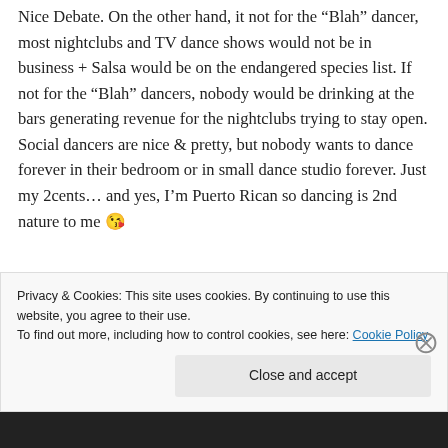Nice Debate. On the other hand, it not for the “Blah” dancer, most nightclubs and TV dance shows would not be in business + Salsa would be on the endangered species list. If not for the “Blah” dancers, nobody would be drinking at the bars generating revenue for the nightclubs trying to stay open. Social dancers are nice & pretty, but nobody wants to dance forever in their bedroom or in small dance studio forever. Just my 2cents… and yes, I’m Puerto Rican so dancing is 2nd nature to me 😘
Privacy & Cookies: This site uses cookies. By continuing to use this website, you agree to their use.
To find out more, including how to control cookies, see here: Cookie Policy